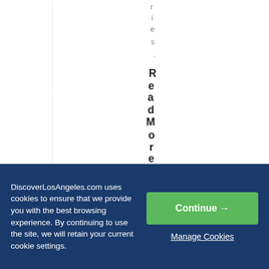ries.
ReadMore
[Figure (other): Arrow button pointing right inside a rectangle border]
DiscoverLosAngeles.com uses cookies to ensure that we provide you with the best browsing experience. By continuing to use the site, we will retain your current cookie settings.
Continue →
Manage Cookies